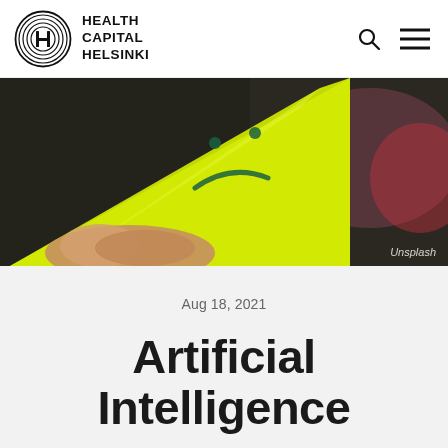HEALTH CAPITAL HELSINKI
[Figure (photo): Close-up of a hand holding a bright neon yellow triangular shape with a sad face drawn on it, blurred background with red and purple tones. Photo credit: Unsplash]
Unsplash
Aug 18, 2021
Artificial Intelligence